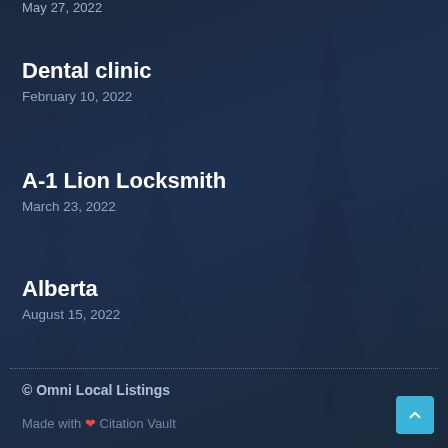May 27, 2022
Dental clinic
February 10, 2022
A-1 Lion Locksmith
March 23, 2022
Alberta
August 15, 2022
© Omni Local Listings
Made with ❤ Citation Vault